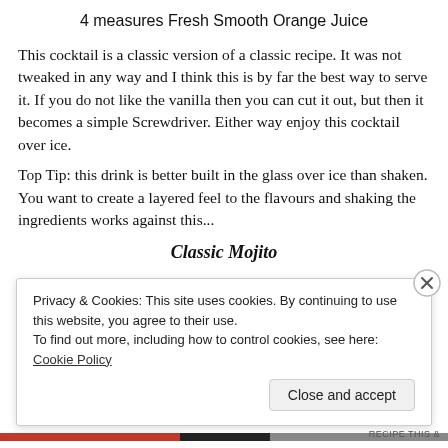4 measures Fresh Smooth Orange Juice
This cocktail is a classic version of a classic recipe. It was not tweaked in any way and I think this is by far the best way to serve it. If you do not like the vanilla then you can cut it out, but then it becomes a simple Screwdriver. Either way enjoy this cocktail over ice.
Top Tip: this drink is better built in the glass over ice than shaken. You want to create a layered feel to the flavours and shaking the ingredients works against this...
Classic Mojito
Privacy & Cookies: This site uses cookies. By continuing to use this website, you agree to their use.
To find out more, including how to control cookies, see here: Cookie Policy
Close and accept